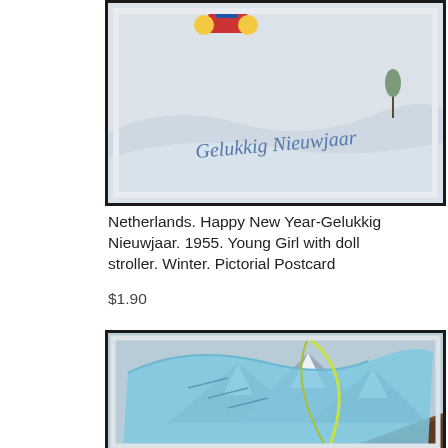[Figure (photo): Vintage Dutch postcard showing a winter snow scene with a young girl with a doll stroller, with cursive text reading 'Gelukkig Nieuwjaar' (Happy New Year), framed with black border.]
Netherlands. Happy New Year-Gelukkig Nieuwjaar. 1955. Young Girl with doll stroller. Winter. Pictorial Postcard
$1.90
[Figure (photo): Vintage postcard showing a winter mountain alpine scene with a large ski/boot in the foreground and snow-covered mountains and a chalet roof in the background, framed with black border.]